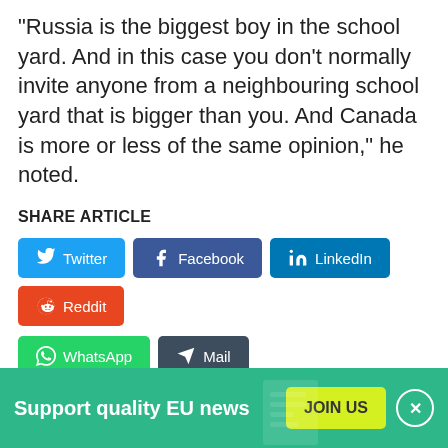"Russia is the biggest boy in the school yard. And in this case you don't normally invite anyone from a neighbouring school yard that is bigger than you. And Canada is more or less of the same opinion," he noted.
SHARE ARTICLE
[Figure (infographic): Share buttons: Twitter (blue), Facebook (dark blue), LinkedIn (blue), Reddit (orange), WhatsApp (green), Mail (dark grey)]
SITE SECTION
EU & the World
RELATED STORIES
Support quality EU news
JOIN US